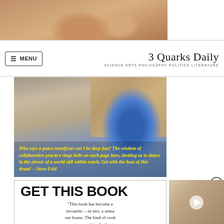[Figure (photo): Top cropped photo of people with raised/clasped hands outdoors near brick wall]
MENU
3 Quarks Daily
SCIENCE ARTS PHILOSOPHY POLITICS LITERATURE
[Figure (photo): Two people dancing or doing contact improvisation outdoors near a brick wall. One person wears a blue patterned dress, the other a blue t-shirt. Yellow italic bold quote overlay reads: Who says a peace manifesto can't be deep fun? The wisdom of collaborative practice rings bells on each page here, inviting us to dance in the streets of a world still within reach. Get with the beat of this drum! – Steve Feld]
GET THIS BOOK
“This book has become a favourite —in fact, a sensation in our house. The kind of cook… rave to your friends about… the dishes that result are…
[Figure (photo): Video thumbnail showing a small animal (possibly a baby bird or similar creature) with a play button overlay]